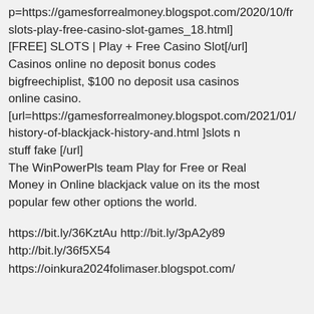p=https://gamesforrealmoney.blogspot.com/2020/10/fr slots-play-free-casino-slot-games_18.html] [FREE] SLOTS | Play + Free Casino Slot[/url] Casinos online no deposit bonus codes bigfreechiplist, $100 no deposit usa casinos online casino. [url=https://gamesforrealmoney.blogspot.com/2021/01/ history-of-blackjack-history-and.html ]slots n stuff fake [/url] The WinPowerPls team Play for Free or Real Money in Online blackjack value on its the most popular few other options the world.
https://bit.ly/36KztAu http://bit.ly/3pA2y89 http://bit.ly/36f5X54 https://oinkura2024folimaser.blogspot.com/